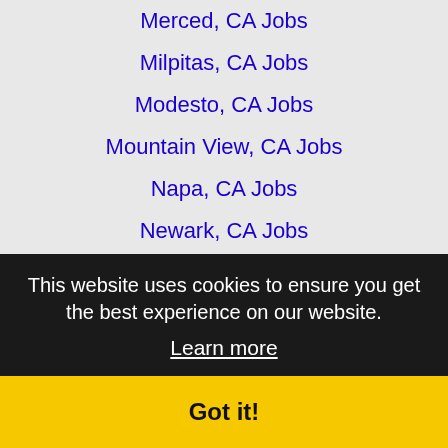Merced, CA Jobs
Milpitas, CA Jobs
Modesto, CA Jobs
Mountain View, CA Jobs
Napa, CA Jobs
Newark, CA Jobs
Novato, CA Jobs
Oakland, CA Jobs
Palo Alto, CA Jobs
Parkway-South Sacramento, CA Jobs
Petaluma, CA Jobs
Pittsburg, CA Jobs
Pleasanton, CA Jobs
Redwood City, CA Jobs
Richmond, CA Jobs
Sacramento, CA Jobs
Salinas, CA Jobs
San Bruno, CA Jobs
This website uses cookies to ensure you get the best experience on our website.
Learn more
Got it!